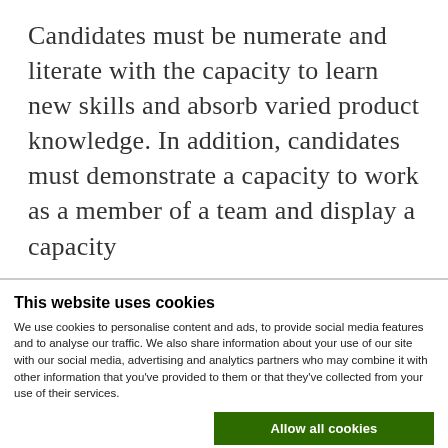Candidates must be numerate and literate with the capacity to learn new skills and absorb varied product knowledge. In addition, candidates must demonstrate a capacity to work as a member of a team and display a capacity
This website uses cookies
We use cookies to personalise content and ads, to provide social media features and to analyse our traffic. We also share information about your use of our site with our social media, advertising and analytics partners who may combine it with other information that you've provided to them or that they've collected from your use of their services.
Allow all cookies
Allow selection
Use necessary cookies only
Necessary Preferences Statistics Marketing Show details